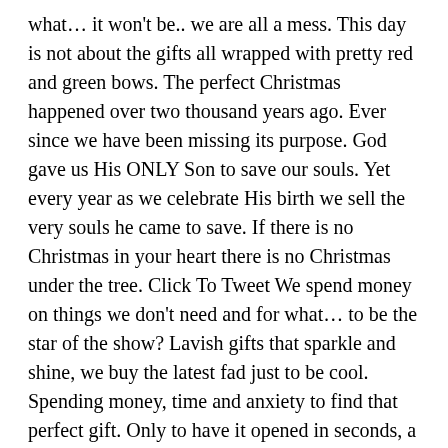what… it won't be.. we are all a mess. This day is not about the gifts all wrapped with pretty red and green bows. The perfect Christmas happened over two thousand years ago. Ever since we have been missing its purpose. God gave us His ONLY Son to save our souls. Yet every year as we celebrate His birth we sell the very souls he came to save. If there is no Christmas in your heart there is no Christmas under the tree. Click To Tweet We spend money on things we don't need and for what… to be the star of the show? Lavish gifts that sparkle and shine, we buy the latest fad just to be cool. Spending money, time and anxiety to find that perfect gift. Only to have it opened in seconds, a few oohs an awes and then set aside. This is not what Christmas is all about. We should take this time to seek forgiveness and healing. While others share the store-bought glitter, why not share from the heart, that matters. Many families will be celebrating this